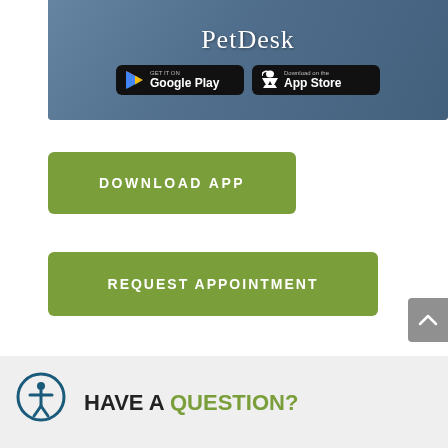[Figure (screenshot): PetDesk app promotional banner showing PetDesk title with Google Play and App Store download buttons over a background photo]
DOWNLOAD APP
REQUEST APPOINTMENT
[Figure (other): Grey scroll-to-top button with upward chevron arrow]
[Figure (other): Accessibility icon - circular dark teal border with person figure inside]
HAVE A QUESTION?